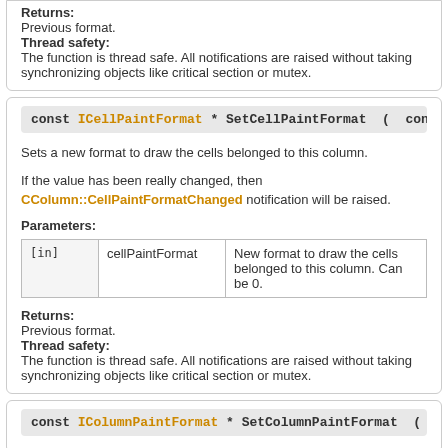Returns:
Previous format.
Thread safety:
The function is thread safe. All notifications are raised without taking synchronizing objects like critical section or mutex.
const ICellPaintFormat * SetCellPaintFormat ( const ICellPai...
Sets a new format to draw the cells belonged to this column.
If the value has been really changed, then CColumn::CellPaintFormatChanged notification will be raised.
Parameters:
| [in] | cellPaintFormat | Description |
| --- | --- | --- |
| [in] | cellPaintFormat | New format to draw the cells belonged to this column. Can be 0. |
Returns:
Previous format.
Thread safety:
The function is thread safe. All notifications are raised without taking synchronizing objects like critical section or mutex.
const IColumnPaintFormat * SetColumnPaintFormat ( const...